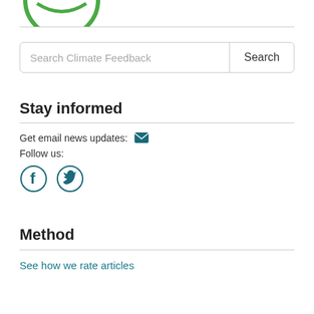[Figure (logo): Partial green circular logo at top left]
Search Climate Feedback
Stay informed
Get email news updates: [envelope icon]
Follow us:
[Figure (other): Facebook and Twitter social media icons (circular teal outlined)]
Method
See how we rate articles